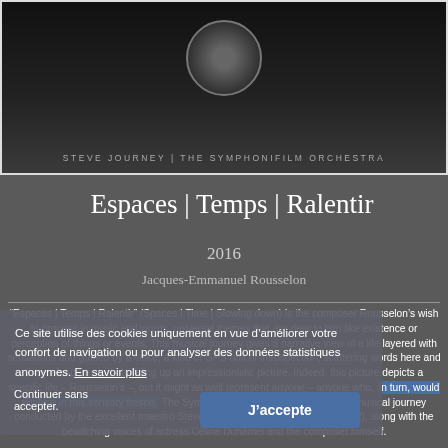[Figure (photo): Album cover image with dark background showing a circular logo and text 'STEVE JOURNEY | THE SYMPHONIFILM ORCHESTRA']
Espaces | Temps | Ralentir
2016
Jacques-Emmanuel Rousselon
"Espaces | Temps | Ralentir" (Spaces | Time | Slowing down) is the composer Rousselon's wish to process in music and words, universal themes that are dear to him like existence or perception of things or events. This musical journey gives a narrative view of a life layered with sensations and guided by a voice, a kind of GPS unit of introspection, scattering words here and there along the path, building up an impressionistic picture. Indeed, this picture depicts a specific life – Rousselon's –, but it might as well represent anyone – anyone who, in turn, would venture in this sensory fresco. The Symphonifilm Orchestra performs this musical journey conducted by the excellent maestro Steve Journey (Who could make that up!), along with the bewitching voices of actress Céline Duhamel and the composer himself.
Ce site utilise des cookies uniquement en vue d'améliorer votre confort de navigation ou pour analyser des données statistiques anonymes. En savoir plus
Continuer sans accepter.
J'accepte